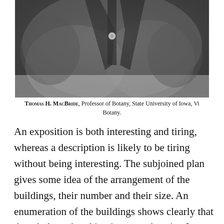[Figure (photo): Black and white photograph showing a close-up of a person's chest/torso area wearing a dark coat or jacket with a button visible.]
Thomas H. MacBride, Professor of Botany, State University of Iowa, Vi... Botany.
An exposition is both interesting and tiring, whereas a description is likely to be tiring without being interesting. The subjoined plan gives some idea of the arrangement of the buildings, their number and their size. An enumeration of the buildings shows clearly that the whole undertaking is an apotheosis of applied science, extending even to the shows along 'The Pike.' Education has been given a central place, both in the position of the building, the first to form part of an exposition, and in the classification of the exhibits. The exposition and education are also fortunate in the fact that the new buildings of Washington